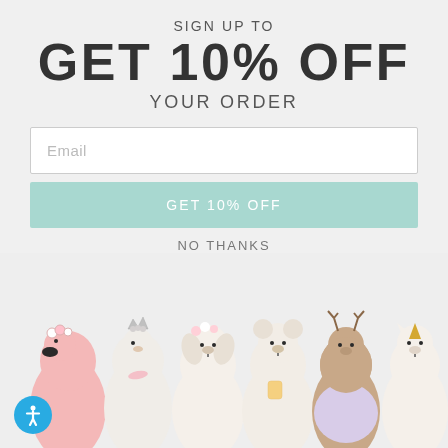SIGN UP TO
GET 10% OFF
YOUR ORDER
Email
GET 10% OFF
NO THANKS
[Figure (photo): Six knitted stuffed animal toys (flamingo, swan/bird, dog, bear, deer, unicorn) sitting in a row on a light background]